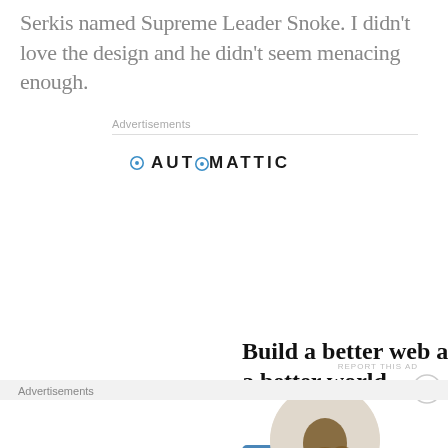Serkis named Supreme Leader Snoke. I didn't love the design and he didn't seem menacing enough.
Advertisements
[Figure (infographic): Automattic advertisement: logo at top, headline 'Build a better web and a better world.', blue Apply button, circular photo of person thinking]
REPORT THIS AD
Advertisements
[Figure (infographic): Bloomingdales advertisement with logo, 'View Today's Top Deals!', woman in hat photo, SHOP NOW box]